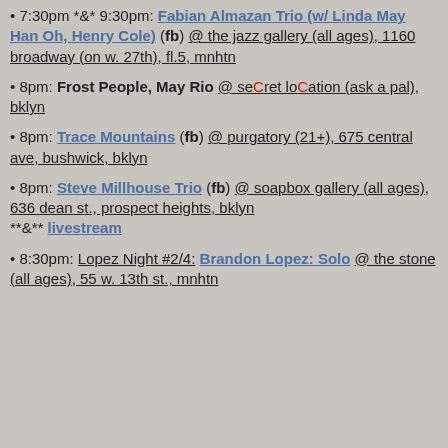• 7:30pm *&* 9:30pm: Fabian Almazan Trio (w/ Linda May Han Oh, Henry Cole) (fb) @ the jazz gallery (all ages), 1160 broadway (on w. 27th), fl.5, mnhtn
• 8pm: Frost People, May Rio @ seCret loCation (ask a pal), bklyn
• 8pm: Trace Mountains (fb) @ purgatory (21+), 675 central ave, bushwick, bklyn
• 8pm: Steve Millhouse Trio (fb) @ soapbox gallery (all ages), 636 dean st., prospect heights, bklyn **&** livestream
• 8:30pm: Lopez Night #2/4: Brandon Lopez: Solo @ the stone (all ages), 55 w. 13th st., mnhtn